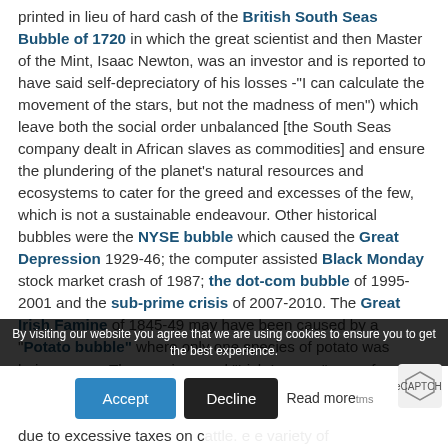printed in lieu of hard cash of the British South Seas Bubble of 1720 in which the great scientist and then Master of the Mint, Isaac Newton, was an investor and is reported to have said self-depreciatory of his losses -"I can calculate the movement of the stars, but not the madness of men") which leave both the social order unbalanced [the South Seas company dealt in African slaves as commodities] and ensure the plundering of the planet's natural resources and ecosystems to cater for the greed and excesses of the few, which is not a sustainable endeavour. Other historical bubbles were the NYSE bubble which caused the Great Depression 1929-46; the computer assisted Black Monday stock market crash of 1987; the dot-com bubble of 1995-2001 and the sub-prime crisis of 2007-2010. The Great Irish Famine of 1845-49 may have been caused by a "Potato bubble" where only one species of potato was being grown. The species used "Irish Lumper" was of Scottish origin and was a very "wet" potato of poor taste quality but capable of good cropping even in thin soils - a monoculture due to excessive taxes on cattle. The absence of the variety of
By visiting our website you agree that we are using cookies to ensure you to get the best experience.